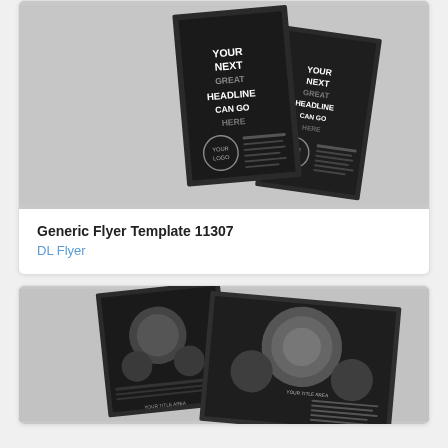[Figure (photo): Thumbnail preview of Generic Flyer Template 11307 — dark/black DL flyer with text 'YOUR NEXT GREAT HEADLINE CAN GO HERE' and 'YOUR LOGO' circle badge, shown as multiple overlapping flyer mockups on a dark gray background.]
Generic Flyer Template 11307
DL Flyer
[Figure (photo): Thumbnail preview of a second flyer/brochure template — dark/black design with circular graphic elements, showing 'YOUR TITLE AREA' text, multiple overlapping panels on a dark background.]